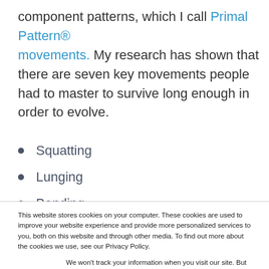component patterns, which I call Primal Pattern® movements. My research has shown that there are seven key movements people had to master to survive long enough in order to evolve.
Squatting
Lunging
Bending
This website stores cookies on your computer. These cookies are used to improve your website experience and provide more personalized services to you, both on this website and through other media. To find out more about the cookies we use, see our Privacy Policy.
We won't track your information when you visit our site. But in order to comply with your preferences, we'll have to use just one tiny cookie so that you're not asked to make this choice again.